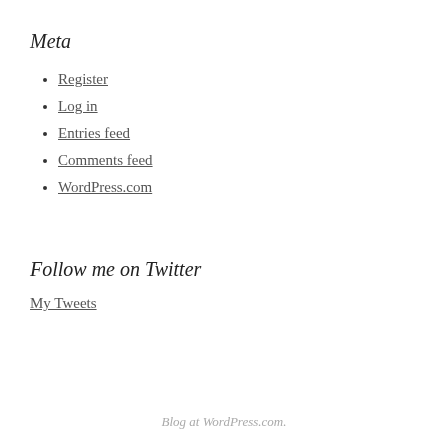Meta
Register
Log in
Entries feed
Comments feed
WordPress.com
Follow me on Twitter
My Tweets
Blog at WordPress.com.